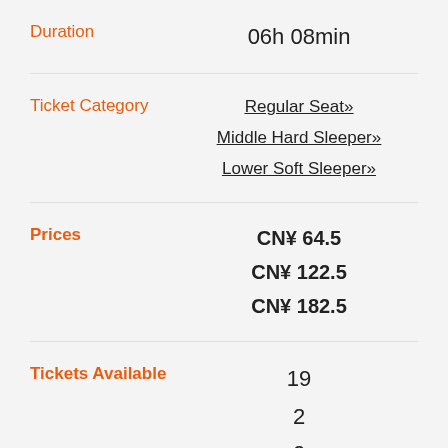Duration: 06h 08min
Ticket Category: Regular Seat» / Middle Hard Sleeper» / Lower Soft Sleeper»
Prices: CN¥64.5 / CN¥122.5 / CN¥182.5
Tickets Available: 19 / 2 / 0
Train No. G1716
Departs: Wuxi East, 12:39
Hefei South (partial)